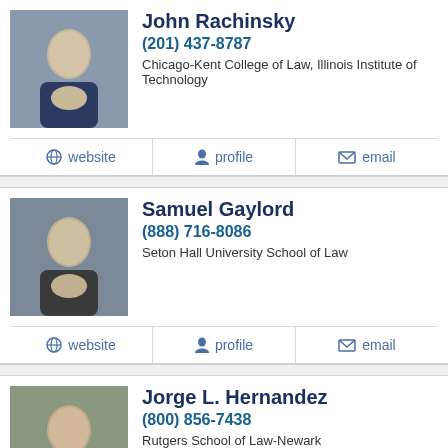[Figure (photo): Headshot photo of John Rachinsky]
John Rachinsky
(201) 437-8787
Chicago-Kent College of Law, Illinois Institute of Technology
website  profile  email
[Figure (photo): Headshot photo of Samuel Gaylord]
Samuel Gaylord
(888) 716-8086
Seton Hall University School of Law
website  profile  email
[Figure (photo): Headshot photo of Jorge L. Hernandez]
Jorge L. Hernandez
(800) 856-7438
Rutgers School of Law-Newark
website  profile  email